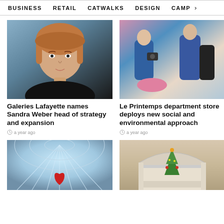BUSINESS   RETAIL   CATWALKS   DESIGN   CAMP >
[Figure (photo): Portrait photo of Sandra Weber, a woman with auburn hair, wearing a black outfit against a grey background]
Galeries Lafayette names Sandra Weber head of strategy and expansion
a year ago
[Figure (photo): Fashion photo of models in casual blue outfits, one holding a camera]
Le Printemps department store deploys new social and environmental approach
a year ago
[Figure (photo): Interior photo of Galeries Lafayette's iconic stained glass dome ceiling with a large red heart installation]
[Figure (photo): Interior of a department store with arched architecture and a Christmas tree decoration]